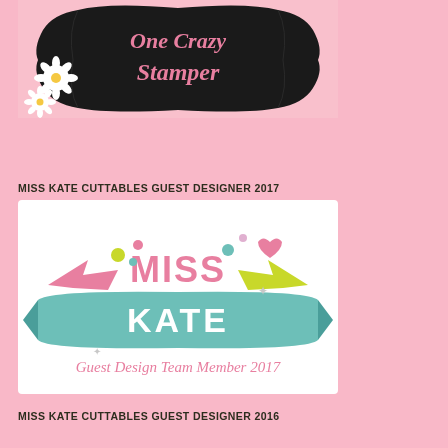[Figure (logo): One Crazy Stamper logo — black decorative badge shape with white daisy flowers on pink background, text 'One Crazy Stamper' in pink script]
MISS KATE CUTTABLES GUEST DESIGNER 2017
[Figure (logo): Miss Kate Cuttables Guest Design Team Member 2017 logo — colorful graphic with pink 'MISS KATE' text on teal ribbon banner, decorative arrows and shapes]
MISS KATE CUTTABLES GUEST DESIGNER 2016